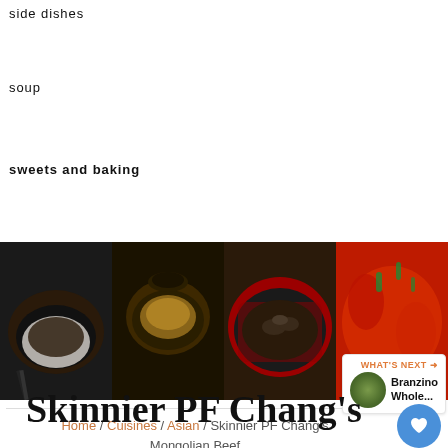side dishes
soup
sweets and baking
[Figure (photo): Four food photos in a horizontal strip: 1) Asian beef dish in black bowl with rice and chopsticks, 2) Korean stew in dark clay pot, 3) Braised beef in red cast iron pan with herbs, 4) Spicy red dish with greens]
Home / Cuisines / Asian / Skinnier PF Chang's Mongolian Beef
1
WHAT'S NEXT → Branzino Whole...
Skinnier PF Chang's